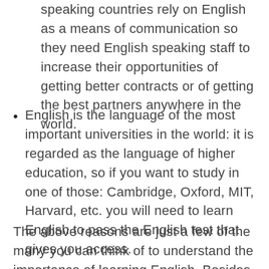speaking countries rely on English as a means of communication so they need English speaking staff to increase their opportunities of getting better contracts or of getting the best partners anywhere in the world.
English is the language of the most important universities in the world: it is regarded as the language of higher education, so if you want to study in one of those: Cambridge, Oxford, MIT, Harvard, etc. you will need to learn English to pass the English test that gives you access.
The above reasons are just a few of the many you can think of to understand the importance of learning English. Besides being useful, English